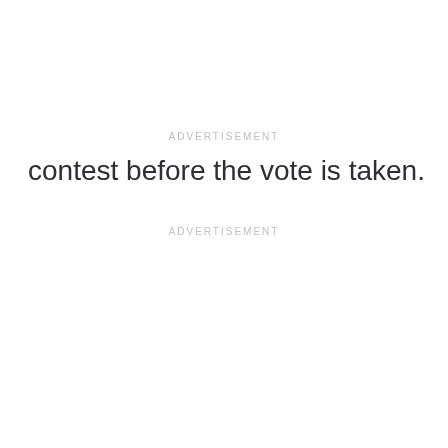ADVERTISEMENT
contest before the vote is taken.
ADVERTISEMENT